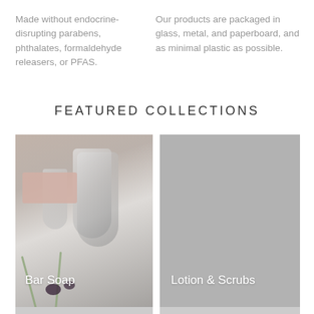Made without endocrine-disrupting parabens, phthalates, formaldehyde releasers, or PFAS.
Our products are packaged in glass, metal, and paperboard, and as minimal plastic as possible.
FEATURED COLLECTIONS
[Figure (photo): Bar soap being held under a chrome bathroom faucet with lavender flowers in the foreground]
Bar Soap
[Figure (photo): Solid grey/neutral background image for Lotion & Scrubs collection]
Lotion & Scrubs